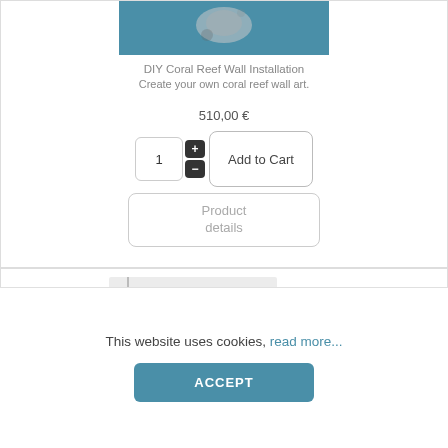[Figure (photo): Product photo of coral reef wall installation on teal background]
DIY Coral Reef Wall Installation
Create your own coral reef wall art.
510,00 €
1
Add to Cart
Product details
[Figure (photo): Second product photo partially visible, showing framed artwork on white wall]
This website uses cookies, read more...
ACCEPT